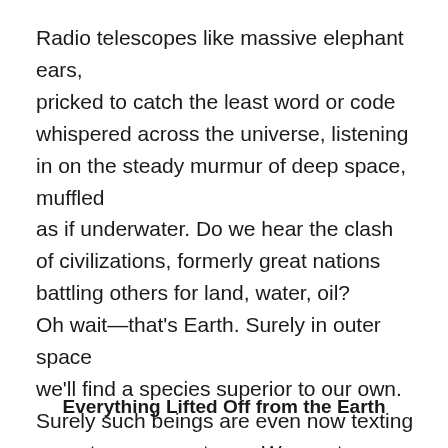Radio telescopes like massive elephant ears, pricked to catch the least word or code whispered across the universe, listening in on the steady murmur of deep space, muffled as if underwater. Do we hear the clash of civilizations, formerly great nations battling others for land, water, oil? Oh wait—that's Earth. Surely in outer space we'll find a species superior to our own. Surely such beings are even now texting urgent messages to us: We want nothing to do with you. Humans, stay home.
Everything Lifted Off from the Earth